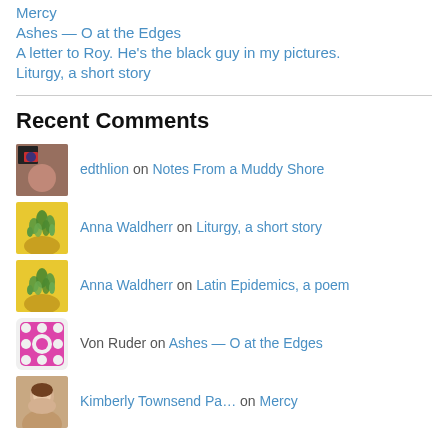Mercy
Ashes — O at the Edges
A letter to Roy. He's the black guy in my pictures.
Liturgy, a short story
Recent Comments
edthlion on Notes From a Muddy Shore
Anna Waldherr on Liturgy, a short story
Anna Waldherr on Latin Epidemics, a poem
Von Ruder on Ashes — O at the Edges
Kimberly Townsend Pa… on Mercy